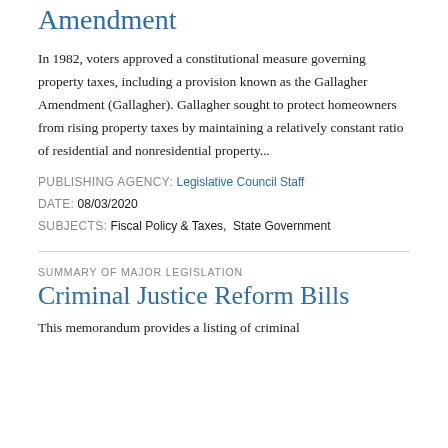Amendment
In 1982, voters approved a constitutional measure governing property taxes, including a provision known as the Gallagher Amendment (Gallagher). Gallagher sought to protect homeowners from rising property taxes by maintaining a relatively constant ratio of residential and nonresidential property...
PUBLISHING AGENCY: Legislative Council Staff
DATE: 08/03/2020
SUBJECTS: Fiscal Policy & Taxes,  State Government
SUMMARY OF MAJOR LEGISLATION
Criminal Justice Reform Bills
This memorandum provides a listing of criminal